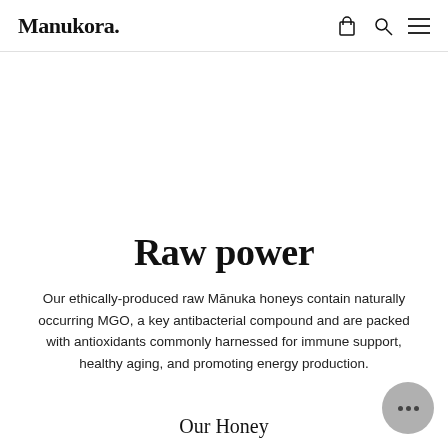Manukora.
Raw power
Our ethically-produced raw Mānuka honeys contain naturally occurring MGO, a key antibacterial compound and are packed with antioxidants commonly harnessed for immune support, healthy aging, and promoting energy production.
Our Honey